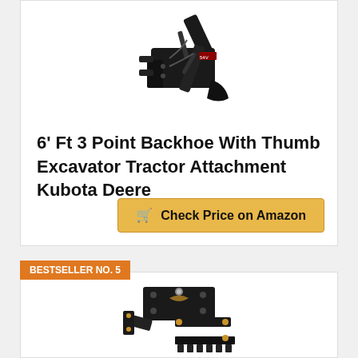[Figure (photo): Black backhoe excavator tractor attachment product photo on white background]
6' Ft 3 Point Backhoe With Thumb Excavator Tractor Attachment Kubota Deere
Check Price on Amazon
BESTSELLER NO. 5
[Figure (photo): Black mechanical thumb / grapple attachment product photo on white background]